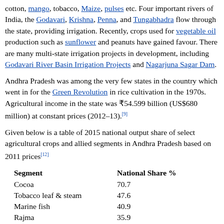cotton, mango, tobacco, Maize, pulses etc. Four important rivers of India, the Godavari, Krishna, Penna, and Tungabhadra flow through the state, providing irrigation. Recently, crops used for vegetable oil production such as sunflower and peanuts have gained favour. There are many multi-state irrigation projects in development, including Godavari River Basin Irrigation Projects and Nagarjuna Sagar Dam.
Andhra Pradesh was among the very few states in the country which went in for the Green Revolution in rice cultivation in the 1970s. Agricultural income in the state was ₹54.599 billion (US$680 million) at constant prices (2012–13).[9]
Given below is a table of 2015 national output share of select agricultural crops and allied segments in Andhra Pradesh based on 2011 prices[12]
| Segment | National Share % |
| --- | --- |
| Cocoa | 70.7 |
| Tobacco leaf & steam | 47.6 |
| Marine fish | 40.9 |
| Rajma | 35.9 |
| Ajwain | 34.6 |